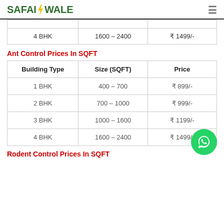SAFAIWALE
| 4 BHK | 1600 – 2400 | ₹ 1499/- |
Ant Control Prices In SQFT
| Building Type | Size (SQFT) | Price |
| --- | --- | --- |
| 1 BHK | 400 – 700 | ₹ 899/- |
| 2 BHK | 700 – 1000 | ₹ 999/- |
| 3 BHK | 1000 – 1600 | ₹ 1199/- |
| 4 BHK | 1600 – 2400 | ₹ 1499/- |
Rodent Control Prices In SQFT